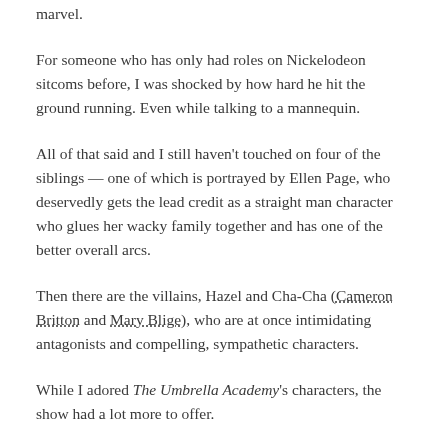marvel.
For someone who has only had roles on Nickelodeon sitcoms before, I was shocked by how hard he hit the ground running. Even while talking to a mannequin.
All of that said and I still haven't touched on four of the siblings — one of which is portrayed by Ellen Page, who deservedly gets the lead credit as a straight man character who glues her wacky family together and has one of the better overall arcs.
Then there are the villains, Hazel and Cha-Cha (Cameron Britton and Mary Blige), who are at once intimidating antagonists and compelling, sympathetic characters.
While I adored The Umbrella Academy's characters, the show had a lot more to offer.